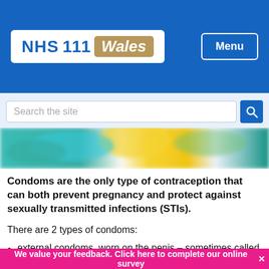[Figure (logo): NHS 111 Wales logo in white box on blue header bar, with Menu button on right]
[Figure (screenshot): Search bar with 'Search the site' placeholder text and blue search icon button]
[Figure (photo): Close-up photo of colorful condoms in wrappers (teal, yellow, pink)]
Condoms are the only type of contraception that can both prevent pregnancy and protect against sexually transmitted infections (STIs).
There are 2 types of condoms:
external condoms, worn on the penis – sometimes called male condoms
female condoms, worn inside the vagina – sometimes
We value your feedback. Click here to complete our online survey✕